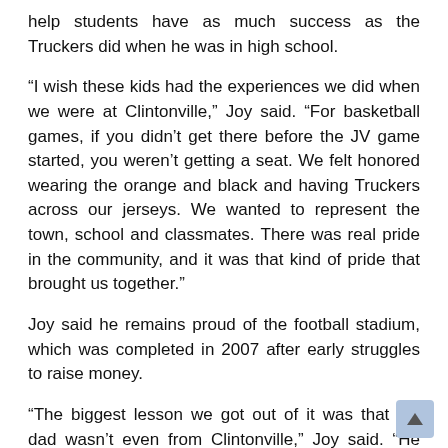help students have as much success as the Truckers did when he was in high school.
“I wish these kids had the experiences we did when we were at Clintonville,” Joy said. “For basketball games, if you didn’t get there before the JV game started, you weren’t getting a seat. We felt honored wearing the orange and black and having Truckers across our jerseys. We wanted to represent the town, school and classmates. There was real pride in the community, and it was that kind of pride that brought us together.”
Joy said he remains proud of the football stadium, which was completed in 2007 after early struggles to raise money.
“The biggest lesson we got out of it was that my dad wasn’t even from Clintonville,” Joy said. “He was an Iowa farm boy, but he always believed when the city came together, great things can happen together. The city came together and supported this, and we have one of the nicest stadiums in the conference.